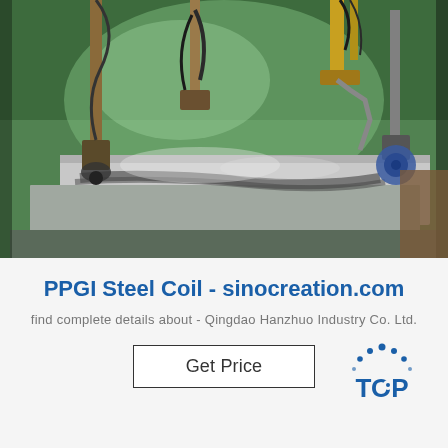[Figure (photo): Factory/manufacturing floor showing industrial robotic or automated processing equipment working on steel/metal sheets on a table, lit with green-tinted lighting.]
PPGI Steel Coil - sinocreation.com
find complete details about - Qingdao Hanzhuo Industry Co. Ltd.
[Figure (logo): TOP logo with dotted arc above the text, in blue color.]
Get Price